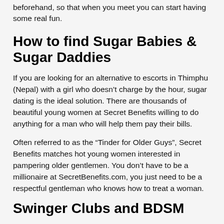beforehand, so that when you meet you can start having some real fun.
How to find Sugar Babies & Sugar Daddies
If you are looking for an alternative to escorts in Thimphu (Nepal) with a girl who doesn't charge by the hour, sugar dating is the ideal solution. There are thousands of beautiful young women at Secret Benefits willing to do anything for a man who will help them pay their bills.
Often referred to as the “Tinder for Older Guys”, Secret Benefits matches hot young women interested in pampering older gentlemen. You don’t have to be a millionaire at SecretBenefits.com, you just need to be a respectful gentleman who knows how to treat a woman.
Swinger Clubs and BDSM
ALT.com is the best place for local singles, swingers, and